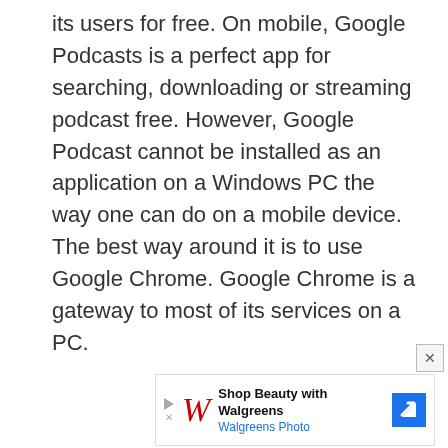its users for free. On mobile, Google Podcasts is a perfect app for searching, downloading or streaming podcast free. However, Google Podcast cannot be installed as an application on a Windows PC the way one can do on a mobile device. The best way around it is to use Google Chrome. Google Chrome is a gateway to most of its services on a PC.
[Figure (infographic): Walgreens advertisement banner: Shop Beauty with Walgreens, Walgreens Photo, with W logo and blue arrow icon]